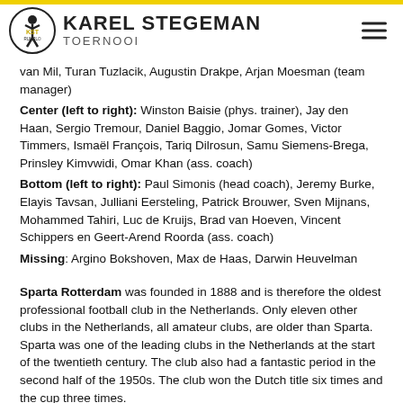KAREL STEGEMAN TOERNOOI
van Mil, Turan Tuzlacik, Augustin Drakpe, Arjan Moesman (team manager)
Center (left to right): Winston Baisie (phys. trainer), Jay den Haan, Sergio Tremour, Daniel Baggio, Jomar Gomes, Victor Timmers, Ismaël François, Tariq Dilrosun, Samu Siemens-Brega, Prinsley Kimvwidi, Omar Khan (ass. coach)
Bottom (left to right): Paul Simonis (head coach), Jeremy Burke, Elayis Tavsan, Julliani Eersteling, Patrick Brouwer, Sven Mijnans, Mohammed Tahiri, Luc de Kruijs, Brad van Hoeven, Vincent Schippers en Geert-Arend Roorda (ass. coach)
Missing: Argino Bokshoven, Max de Haas, Darwin Heuvelman
Sparta Rotterdam was founded in 1888 and is therefore the oldest professional football club in the Netherlands. Only eleven other clubs in the Netherlands, all amateur clubs, are older than Sparta. Sparta was one of the leading clubs in the Netherlands at the start of the twentieth century. The club also had a fantastic period in the second half of the 1950s. The club won the Dutch title six times and the cup three times.